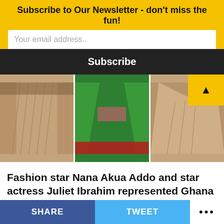Subscribe to Our Newsletter - don't miss the fun!
Your email address..
Subscribe
[Figure (photo): Three fashion photos showing dresses worn at the 2022 AMVCA awards. Left and right show a beige lace/mesh gown. Center shows a green and red African dress.]
Fashion star Nana Akua Addo and star actress Juliet Ibrahim represented Ghana at the 2022 African Magic Viewers Choice Awards (AMVCA)
The pair lit up their social media accounts with stunning
SHARE   TWEET   •••